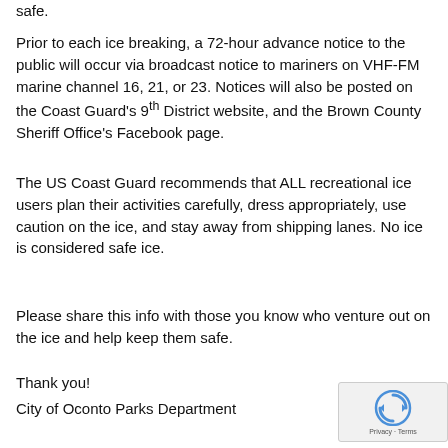safe.
Prior to each ice breaking, a 72-hour advance notice to the public will occur via broadcast notice to mariners on VHF-FM marine channel 16, 21, or 23. Notices will also be posted on the Coast Guard's 9th District website, and the Brown County Sheriff Office's Facebook page.
The US Coast Guard recommends that ALL recreational ice users plan their activities carefully, dress appropriately, use caution on the ice, and stay away from shipping lanes. No ice is considered safe ice.
Please share this info with those you know who venture out on the ice and help keep them safe.
Thank you!
City of Oconto Parks Department
[Figure (other): reCAPTCHA badge with privacy and terms text]